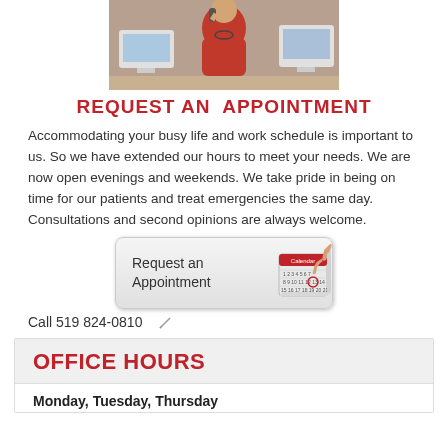[Figure (photo): Person in red sweater talking on phone at desk with computers in background]
REQUEST AN  APPOINTMENT
Accommodating your busy life and work schedule is important to us. So we have extended our hours to meet your needs. We are now open evenings and weekends. We take pride in being on time for our patients and treat emergencies the same day. Consultations and second opinions are always welcome.
[Figure (illustration): Button graphic showing Request an Appointment with calendar icon]
Call 519 824-0810
OFFICE HOURS
Monday, Tuesday, Thursday